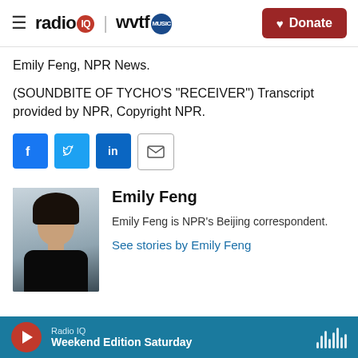radio IQ | wvtf MUSIC  Donate
Emily Feng, NPR News.
(SOUNDBITE OF TYCHO'S "RECEIVER") Transcript provided by NPR, Copyright NPR.
[Figure (other): Social sharing buttons: Facebook, Twitter, LinkedIn, Email]
[Figure (photo): Headshot photo of Emily Feng, a woman with dark shoulder-length hair wearing a black turtleneck and necklace]
Emily Feng
Emily Feng is NPR's Beijing correspondent.
See stories by Emily Feng
Radio IQ  Weekend Edition Saturday